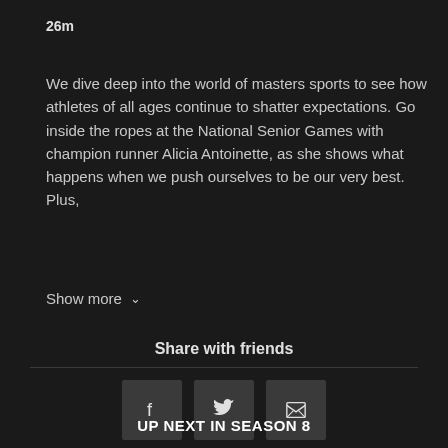26m
We dive deep into the world of masters sports to see how athletes of all ages continue to shatter expectations. Go inside the ropes at the National Senior Games with champion runner Alicia Antoinette, as she shows what happens when we push ourselves to be our very best. Plus,
Show more
Share with friends
[Figure (infographic): Three social sharing icon buttons: Facebook (f), Twitter (bird), and Email (envelope), displayed as dark square buttons in a row]
UP NEXT IN SEASON 8